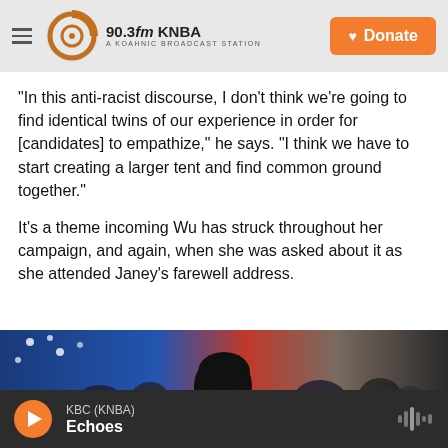90.3fm KNBA — A KOAHNIC BROADCAST STATION | Donate
"In this anti-racist discourse, I don't think we're going to find identical twins of our experience in order for [candidates] to empathize," he says. "I think we have to start creating a larger tent and find common ground together."
It's a theme incoming Wu has struck throughout her campaign, and again, when she was asked about it as she attended Janey's farewell address.
[Figure (photo): Photo of a smiling Asian woman in front of a crowd with an American flag in the background]
KBC (KNBA) — Echoes